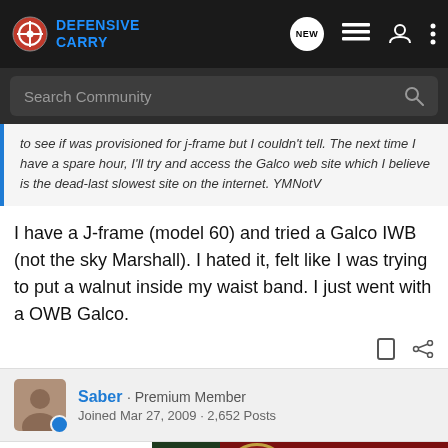Defensive Carry
Search Community
to see if it was provisioned for J-frame but I couldn't tell. The next time I have a spare hour, I'll try and access the Galco web site which I believe is the dead-last slowest site on the internet. YMNotV
I have a J-frame (model 60) and tried a Galco IWB (not the sky Marshall). I hated it, felt like I was trying to put a walnut inside my waist band. I just went with a OWB Galco.
Saber · Premium Member
Joined Mar 27, 2009 · 2,652 Posts
#14 · De
Yes, Ga
[Figure (screenshot): Bass Pro Shops Hunting Clearance Bargain Cave advertisement banner with Shop Now button]